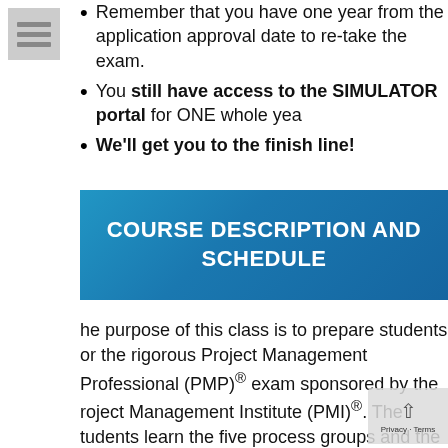[Figure (other): Gray icon with three horizontal bars (hamburger/menu icon)]
Remember that you have one year from the application approval date to re-take the exam.
You still have access to the SIMULATOR portal for ONE whole year
We'll get you to the finish line!
COURSE DESCRIPTION AND SCHEDULE
The purpose of this class is to prepare students for the rigorous Project Management Professional (PMP)® exam sponsored by the Project Management Institute (PMI)®. The students learn the five process groups and the ten knowledge areas. In addition, the students are provided with practice exams that mirror the real test-taking environment.